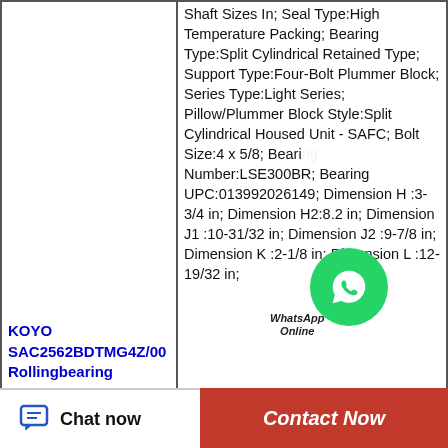Shaft Sizes In; Seal Type:High Temperature Packing; Bearing Type:Split Cylindrical Retained Type; Support Type:Four-Bolt Plummer Block; Series Type:Light Series; Pillow/Plummer Block Style:Split Cylindrical Housed Unit - SAFC; Bolt Size:4 x 5/8; Bearing Number:LSE300BR; Bearing UPC:013992026149; Dimension H :3-3/4 in; Dimension H2:8.2 in; Dimension J1 :10-31/32 in; Dimension J2 :9-7/8 in; Dimension K :2-1/8 in; Dimension L :12-19/32 in; Dimension M:3-1/2 in;
KOYO SAC2562BDTMG4Z/00 Rollingbearing
[Figure (other): WhatsApp Online button overlay — green circular WhatsApp icon with 'WhatsApp Online' label]
Chat now
Contact Now